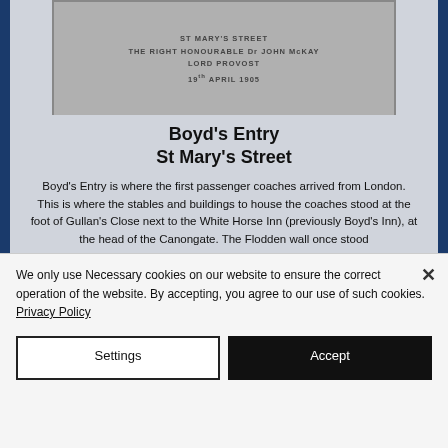[Figure (photo): A stone plaque mounted on a wall. Text reads: ST MARY'S STREET / THE RIGHT HONOURABLE Dr JOHN McKAY / LORD PROVOST / 19th APRIL 1905]
Boyd's Entry
St Mary's Street
Boyd's Entry is where the first passenger coaches arrived from London. This is where the stables and buildings to house the coaches stood at the foot of Gullan's Close next to the White Horse Inn (previously Boyd's Inn), at the head of the Canongate. The Flodden wall once stood
We only use Necessary cookies on our website to ensure the correct operation of the website. By accepting, you agree to our use of such cookies. Privacy Policy
Settings
Accept